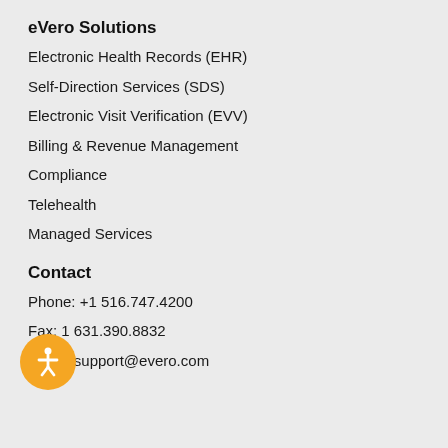eVero Solutions
Electronic Health Records (EHR)
Self-Direction Services (SDS)
Electronic Visit Verification (EVV)
Billing & Revenue Management
Compliance
Telehealth
Managed Services
Contact
Phone: +1 516.747.4200
Fax: 1 631.390.8832
Email: support@evero.com